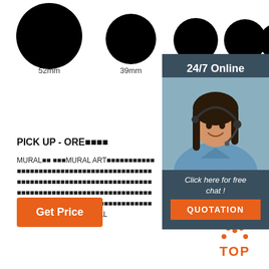[Figure (illustration): Row of black circles in decreasing sizes labeled 52mm, 39mm, 35mm, 34mm, 30mm and more, showing size comparison]
[Figure (photo): 24/7 Online customer service panel with a woman wearing a headset, a 'Click here for free chat!' message, and an orange QUOTATION button]
PICK UP - ORE■■■■
MURAL■■ ■■■MURAL ART■■■■■■■■■■■■■■■■■■■■■■■■■■■■■■■■■■■■■■■■■■■■■■■■■■■■■■■■■■■■■■■■■■■■■■■■■■■■■■■■■■■■■■■■■■MURAL
[Figure (illustration): Orange 'Get Price' button]
[Figure (illustration): Orange TOP button with dotted arc above the word TOP]